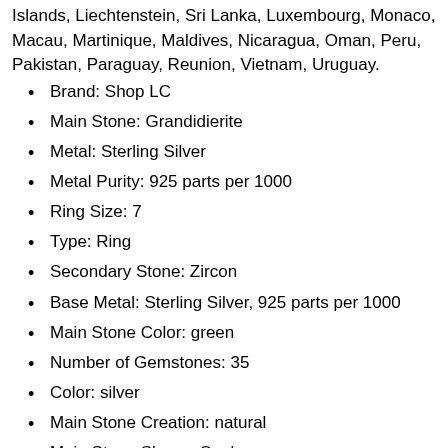Islands, Liechtenstein, Sri Lanka, Luxembourg, Monaco, Macau, Martinique, Maldives, Nicaragua, Oman, Peru, Pakistan, Paraguay, Reunion, Vietnam, Uruguay.
Brand: Shop LC
Main Stone: Grandidierite
Metal: Sterling Silver
Metal Purity: 925 parts per 1000
Ring Size: 7
Type: Ring
Secondary Stone: Zircon
Base Metal: Sterling Silver, 925 parts per 1000
Main Stone Color: green
Number of Gemstones: 35
Color: silver
Main Stone Creation: natural
Main Stone Shape: Oval
Style: rings
Setting Style: Other